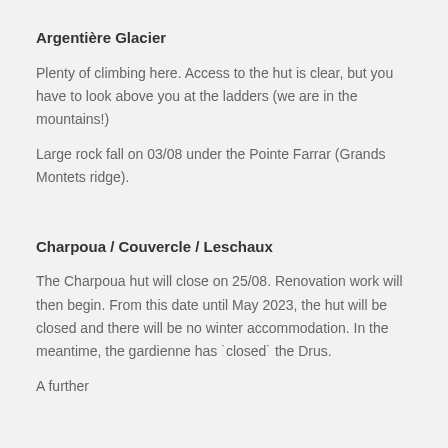Argentière Glacier
Plenty of climbing here. Access to the hut is clear, but you have to look above you at the ladders (we are in the mountains!)
Large rock fall on 03/08 under the Pointe Farrar (Grands Montets ridge).
Charpoua / Couvercle / Leschaux
The Charpoua hut will close on 25/08. Renovation work will then begin. From this date until May 2023, the hut will be closed and there will be no winter accommodation. In the meantime, the gardienne has ˙closed˙ the Drus.
A further partial closure note…